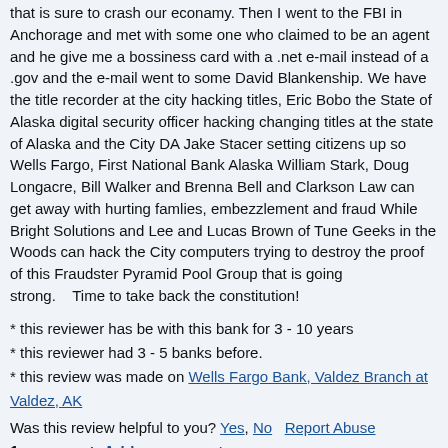that is sure to crash our econamy.  Then I went to the FBI in Anchorage and met with some one who claimed to be an agent and he give me a bossiness card with a .net e-mail instead of a .gov and the e-mail went to some David Blankenship.  We have the title recorder at the city hacking titles, Eric Bobo the State of Alaska digital security officer hacking changing titles at the state of Alaska and the City DA Jake Stacer setting citizens up so Wells Fargo, First National Bank Alaska William Stark, Doug Longacre, Bill Walker and Brenna Bell and Clarkson Law can get away with hurting famlies, embezzlement and fraud While Bright Solutions and Lee and Lucas Brown of Tune Geeks in the Woods can hack the City computers trying to destroy the proof of this Fraudster Pyramid Pool Group that is going strong.    Time to take back the constitution!
* this reviewer has be with this bank for 3 - 10 years
* this reviewer had 3 - 5 banks before.
* this review was made on Wells Fargo Bank, Valdez Branch at Valdez, AK
Was this review helpful to you? Yes, No    Report Abuse
1 comment. Add a comment
by GolDvsFaiT 2019-05-25 16:22:12